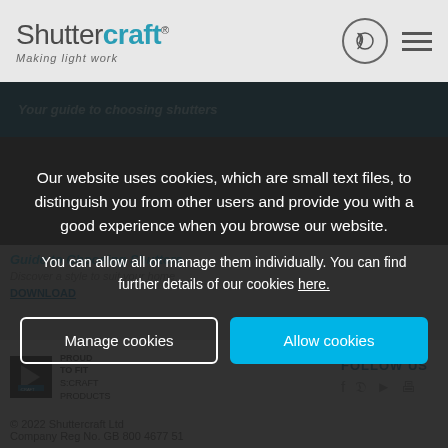Shuttercraft — Making light work
[Figure (screenshot): Background website screenshot showing guide to choosing shutters banner, section header, and footer]
Our website uses cookies, which are small text files, to distinguish you from other users and provide you with a good experience when you browse our website.
You can allow all or manage them individually. You can find further details of our cookies here.
Manage cookies
Allow cookies
© 2022 Shuttercraft Ltd
Company Reg No. GB 800 4677 51